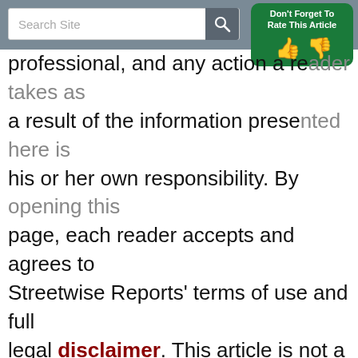Search Site
[Figure (infographic): Green rounded rectangle with text 'Don't Forget To Rate This Article' and thumbs up/thumbs down icons in white]
professional, and any action a reader takes as a result of the information presented here is his or her own responsibility. By opening this page, each reader accepts and agrees to Streetwise Reports' terms of use and full legal disclaimer. This article is not a solicitation for investment. Streetwise Reports does not render general or specific investment advice, and the information on Streetwise Reports should not be considered a recommendation to buy or sell any security. Streetwise Reports does not endorse or recommend the business, products, services, or securities of any company mentioned on Streetwise Reports.